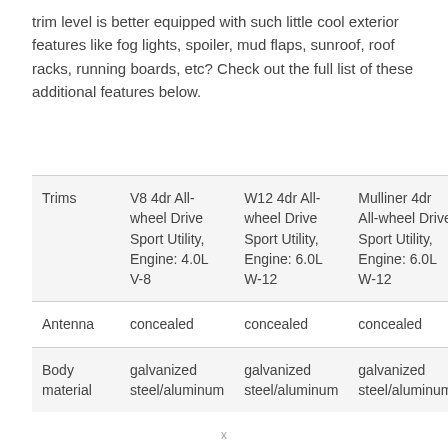trim level is better equipped with such little cool exterior features like fog lights, spoiler, mud flaps, sunroof, roof racks, running boards, etc? Check out the full list of these additional features below.
| Trims | V8 4dr All-wheel Drive Sport Utility, Engine: 4.0L V-8 | W12 4dr All-wheel Drive Sport Utility, Engine: 6.0L W-12 | Mulliner 4dr All-wheel Drive Sport Utility, Engine: 6.0L W-12 |
| --- | --- | --- | --- |
| Antenna | concealed | concealed | concealed |
| Body material | galvanized steel/aluminum | galvanized steel/aluminum | galvanized steel/aluminum |
x